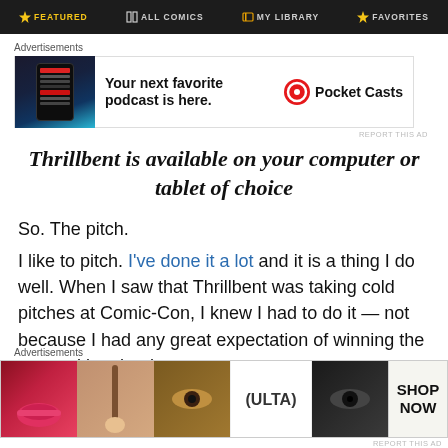FEATURED | ALL COMICS | MY LIBRARY | FAVORITES
[Figure (screenshot): Advertisement banner for Pocket Casts podcast app showing phone screenshot with text 'Your next favorite podcast is here.' and Pocket Casts logo]
Thrillbent is available on your computer or tablet of choice
So. The pitch.
I like to pitch. I've done it a lot and it is a thing I do well. When I saw that Thrillbent was taking cold pitches at Comic-Con, I knew I had to do it — not because I had any great expectation of winning the competition, but because
[Figure (screenshot): Advertisement banner for ULTA Beauty showing makeup photos and 'SHOP NOW' call to action]